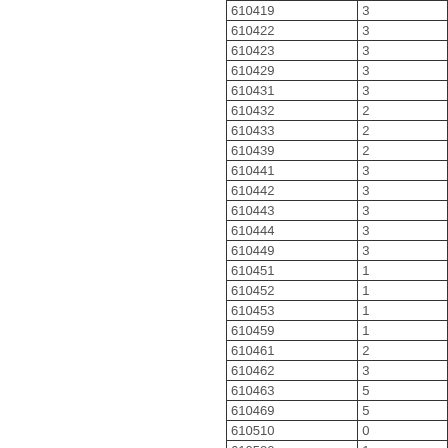| 610419 | 3 |
| 610422 | 3 |
| 610423 | 3 |
| 610429 | 3 |
| 610431 | 3 |
| 610432 | 2 |
| 610433 | 2 |
| 610439 | 2 |
| 610441 | 3 |
| 610442 | 3 |
| 610443 | 3 |
| 610444 | 3 |
| 610449 | 3 |
| 610451 | 1 |
| 610452 | 1 |
| 610453 | 1 |
| 610459 | 1 |
| 610461 | 2 |
| 610462 | 3 |
| 610463 | 5 |
| 610469 | 5 |
| 610510 | 0 |
| 610520 | 1 |
| 610590 | 1 |
| 610610 | 0 |
| 610620 | 1 |
| 610690 | 1 |
| 610711 | 0 |